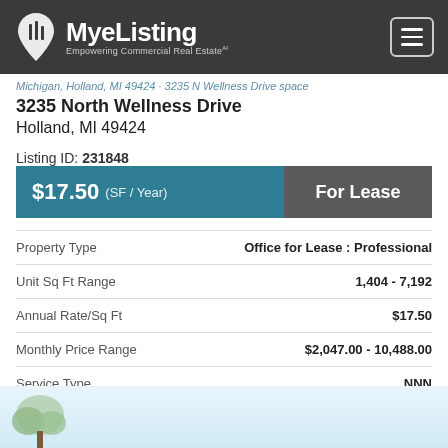MyeListing — Empowering Commercial Real Estate
Michigan, Holland, MI 49424 · 3235 N Wellness Drive space
3235 North Wellness Drive
Holland, MI 49424
Listing ID: 231848
$17.50 (SF / Year)   For Lease
|  |  |
| --- | --- |
| Property Type | Office for Lease : Professional |
| Unit Sq Ft Range | 1,404 - 7,192 |
| Annual Rate/Sq Ft | $17.50 |
| Monthly Price Range | $2,047.00 - 10,488.00 |
| Service Type | NNN |
[Figure (photo): Partial view of the property exterior with trees at the bottom of the page]